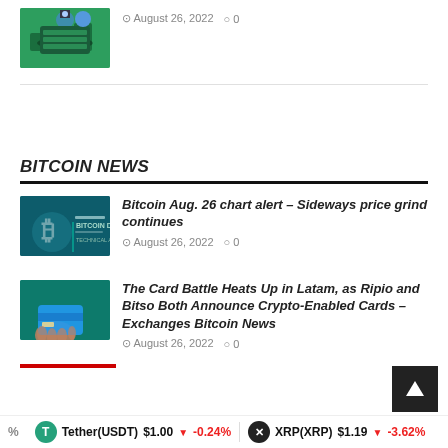[Figure (photo): Green thumbnail image of Bitcoin mining equipment]
August 26, 2022  0
BITCOIN NEWS
[Figure (photo): Dark teal thumbnail with Bitcoin Daily Technical Analysis text overlay]
Bitcoin Aug. 26 chart alert – Sideways price grind continues
August 26, 2022  0
[Figure (photo): Teal thumbnail with hand holding a card image]
The Card Battle Heats Up in Latam, as Ripio and Bitso Both Announce Crypto-Enabled Cards – Exchanges Bitcoin News
August 26, 2022  0
Tether(USDT) $1.00 -0.24%  XRP(XRP) $1.19 -3.62%